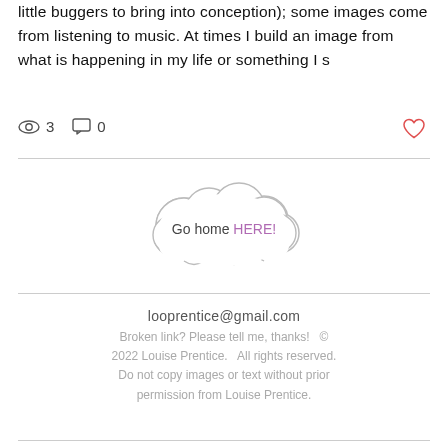little buggers to bring into conception); some images come from listening to music. At times I build an image from what is happening in my life or something I s
👁 3   💬 0   ♡
[Figure (illustration): Cloud shape with text 'Go home HERE!' inside it]
looprentice@gmail.com
Broken link? Please tell me, thanks!  © 2022 Louise Prentice.  All rights reserved. Do not copy images or text without prior permission from Louise Prentice.